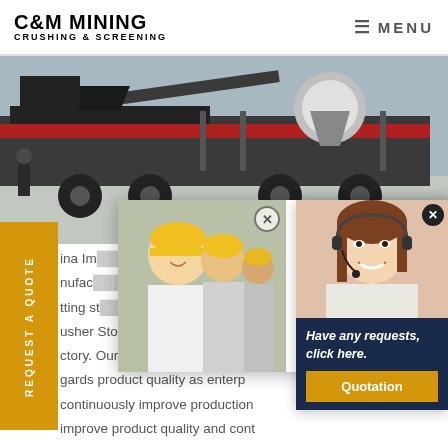C&M MINING CRUSHING & SCREENING | MENU
[Figure (photo): Aerial view of mobile mining crushing and screening machinery on a truck trailer]
REQUEST A QUOTE
China Im...Manufac... getting st... usher Stone - China Manufactu ...ctory. Our company since its inc... gards product quality as enterp... continuously improve production improve product quality and cont... strengthen enterprise total qualit...
[Figure (photo): Live Chat popup showing workers in yellow hard hats with text LIVE CHAT - Click for a Free Consultation, Chat now and Chat later buttons]
[Figure (photo): Customer service representative woman wearing headset, with navy blue box saying Have any requests, click here. and Quotation button]